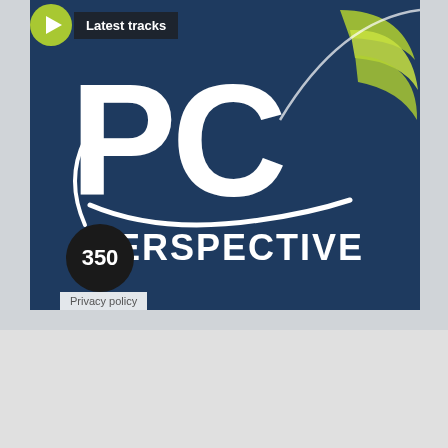[Figure (screenshot): PC Perspective podcast card with dark blue background, PC Perspective logo, green wifi/swoosh lines top-right, play button, 'Latest tracks' label, episode count bubble showing 350, and Privacy policy link.]
Latest tracks
350
Privacy policy
[Figure (screenshot): Advertisement banner showing 'CUTTING OLD TIES' text in white on dark background, with a power supply unit (PSU) and scissors cutting cables.]
CUTTING OLD TIES